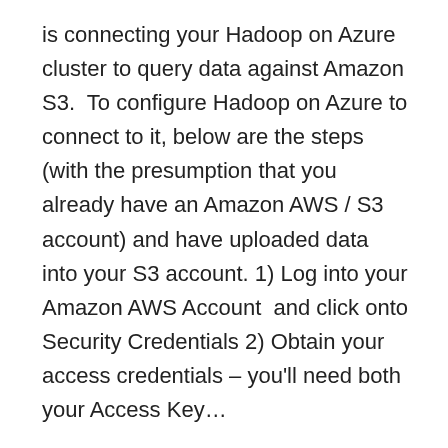is connecting your Hadoop on Azure cluster to query data against Amazon S3.  To configure Hadoop on Azure to connect to it, below are the steps (with the presumption that you already have an Amazon AWS / S3 account) and have uploaded data into your S3 account. 1) Log into your Amazon AWS Account  and click onto Security Credentials 2) Obtain your access credentials – you'll need both your Access Key…
Rate this:
[Figure (other): Star rating widget showing 1 out of 5 stars filled (gold), 4 empty stars, an info icon, and '2 Votes' text]